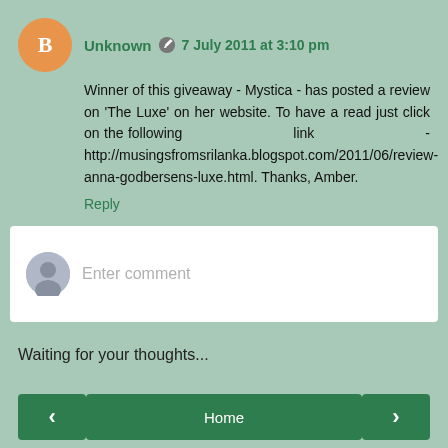Unknown  7 July 2011 at 3:10 pm
Winner of this giveaway - Mystica - has posted a review on 'The Luxe' on her website. To have a read just click on the following                          link                          - http://musingsfromsrilanka.blogspot.com/2011/06/review-anna-godbersens-luxe.html. Thanks, Amber.
Reply
Enter comment
Waiting for your thoughts...
Home
View web version
Powered by Blogger